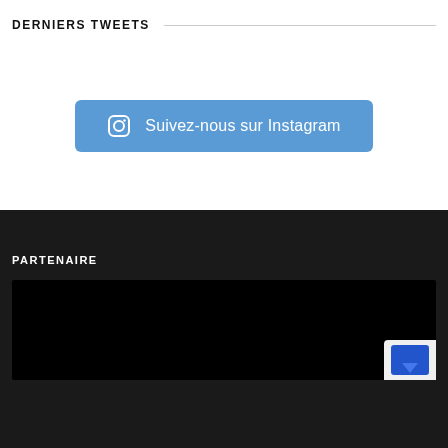DERNIERS TWEETS
[Figure (other): Blue Instagram follow button with Instagram icon and text 'Suivez-nous sur Instagram']
PARTENAIRE
[Figure (other): Dark/black image block representing a partenaire logo area with a small badge in the corner]